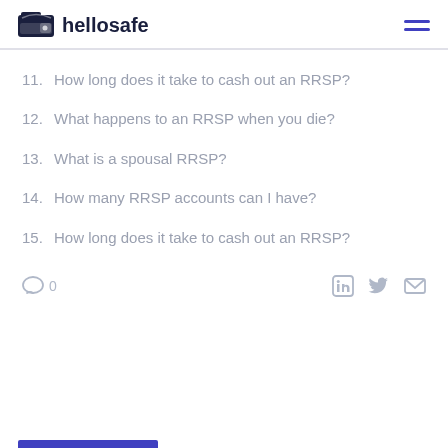hellosafe
11. How long does it take to cash out an RRSP?
12. What happens to an RRSP when you die?
13. What is a spousal RRSP?
14. How many RRSP accounts can I have?
15. How long does it take to cash out an RRSP?
0 comments, social share icons